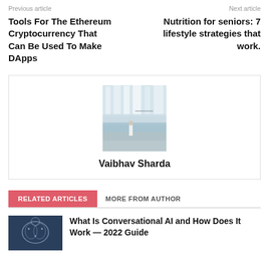Previous article
Next article
Tools For The Ethereum Cryptocurrency That Can Be Used To Make DApps
Nutrition for seniors: 7 lifestyle strategies that work.
[Figure (photo): Author photo: a person standing on a beach in front of large waterfalls with a bridge visible in the background]
Vaibhav Sharda
RELATED ARTICLES
MORE FROM AUTHOR
What Is Conversational AI and How Does It Work — 2022 Guide